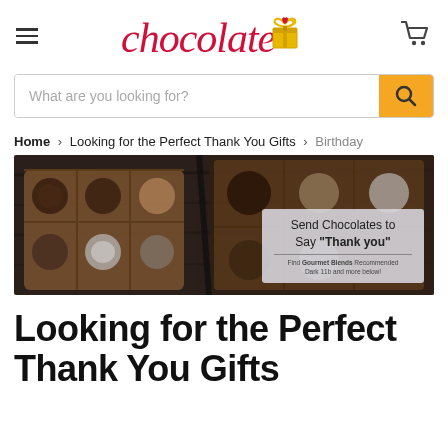chocolate (logo with gift icon)
What are you looking for?
Home > Looking for the Perfect Thank You Gifts > Birthday
[Figure (photo): Banner image showing a box of chocolates on a dark wooden surface with an overlay card reading: Send Chocolates to Say "Thank you" — Find Gourmet Blends Recommended Dark 11b and more below!]
Looking for the Perfect Thank You Gifts